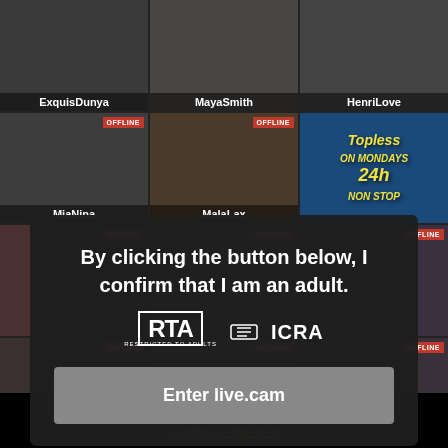[Figure (screenshot): Age verification modal overlay on a live cam website grid. Shows performer thumbnails (ExquisDunya, MayaSmith, HenriLove, MiaNina, MalaLax) with OFFLINE badges and an advertisement tile. A dark modal dialog says 'By clicking the button below, I confirm that I am an adult.' with RTA and ICRA logos and an 'Enter live.cam' button.]
By clicking the button below, I confirm that I am an adult.
Enter live.cam
18 U.S.C. §2257 Record-Keeping Requirements Compliance Statement